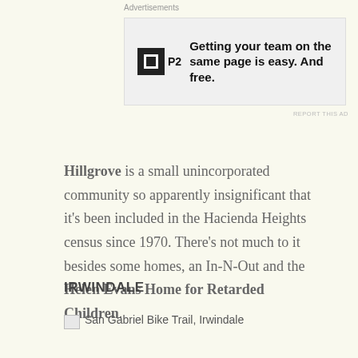Advertisements
[Figure (other): Advertisement banner for P2: 'Getting your team on the same page is easy. And free.']
REPORT THIS AD
Hillgrove is a small unincorporated community so apparently insignificant that it’s been included in the Hacienda Heights census since 1970. There’s not much to it besides some homes, an In-N-Out and the Helen Evans Home for Retarded Children.
IRWINDALE
[Figure (photo): San Gabriel Bike Trail, Irwindale (broken image)]